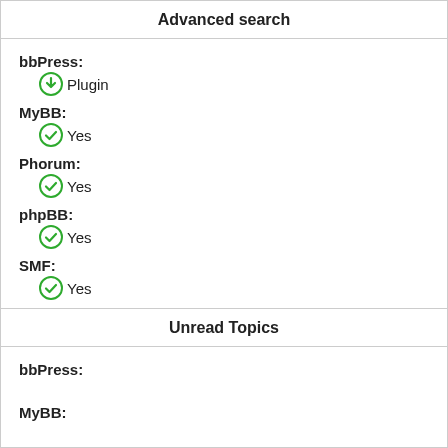Advanced search
bbPress:
Plugin
MyBB:
Yes
Phorum:
Yes
phpBB:
Yes
SMF:
Yes
Unread Topics
bbPress:
MyBB: